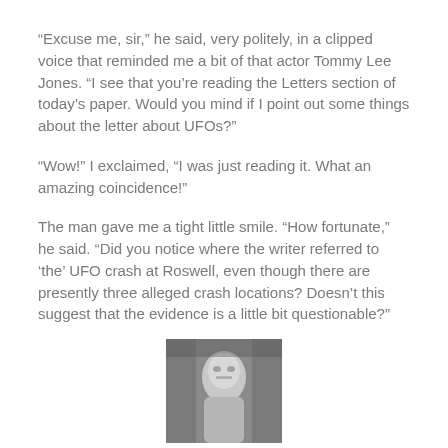“Excuse me, sir,” he said, very politely, in a clipped voice that reminded me a bit of that actor Tommy Lee Jones. “I see that you’re reading the Letters section of today’s paper. Would you mind if I point out some things about the letter about UFOs?”
“Wow!” I exclaimed, “I was just reading it. What an amazing coincidence!”
The man gave me a tight little smile. “How fortunate,” he said. “Did you notice where the writer referred to ‘the’ UFO crash at Roswell, even though there are presently three alleged crash locations? Doesn’t this suggest that the evidence is a little bit questionable?”
[Figure (photo): Black and white photo of a person or mannequin, possibly in costume or space suit, from a close-up angle]